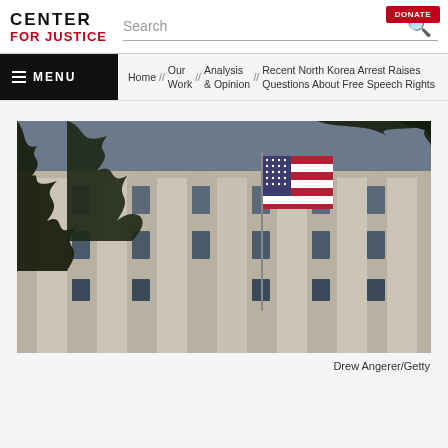CENTER FOR JUSTICE
Search
Home // Our Work // Analysis & Opinion // Recent North Korea Arrest Raises Questions About Free Speech Rights
[Figure (photo): Exterior of a large government building with tall stone columns and an American flag flying in front, viewed from below with tree branches visible at the top. Photo credit: Drew Angerer/Getty]
Drew Angerer/Getty